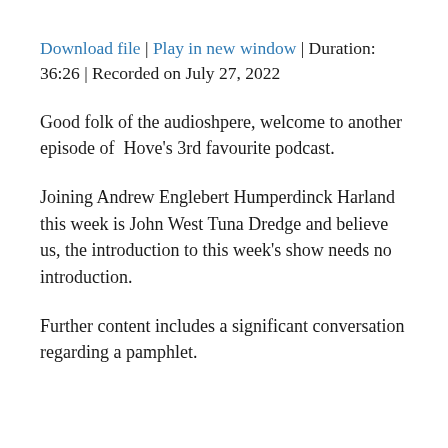Download file | Play in new window | Duration: 36:26 | Recorded on July 27, 2022
Good folk of the audioshpere, welcome to another episode of Hove's 3rd favourite podcast.
Joining Andrew Englebert Humperdinck Harland this week is John West Tuna Dredge and believe us, the introduction to this week's show needs no introduction.
Further content includes a significant conversation regarding a pamphlet.